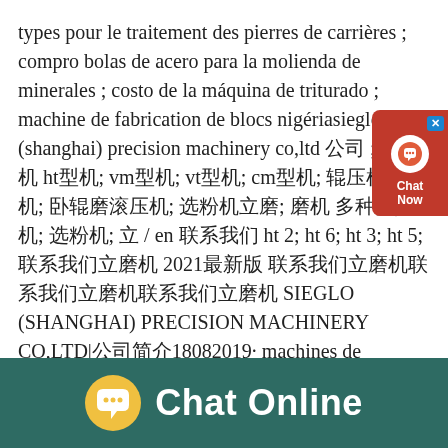types pour le traitement des pierres de carrières ; compro bolas de acero para la molienda de minerales ; costo de la máquina de triturado ; machine de fabrication de blocs nigériasieglo (shanghai) precision machinery co,ltd 公司 ; 立磨机 ht型机; vm型机; vt型机; cm型机; 辊压机;磨 机; 卧辊磨滚压机; 选粉机立磨; 磨机 多种多; 磨机; 选粉机; 立 / en 联系我们 ht 2; ht 6; ht 3; ht 5; 联系我们立磨机 2021最新版 联系我们立磨机联系我们立磨机联系我们立磨机 SIEGLO (SHANGHAI) PRECISION MACHINERY CO,LTD|公司简介18082019· machines de coltdkenya de shanghai ; Broyeur Prerovks Strojirnv ; mets trepied monte sur piste tout le reste ; machine à moudre le sesame ; écraser des photos d epuipment en afrique du sud ; Risque Concasseur De Le Ciment Pdf Doc ; machine à identifier l r ; natraj atta maker price in
[Figure (other): Chat widget popup on right side: red background with X close button, white circle with headset/chat icon, and 'Chat Now' label in white text]
[Figure (other): Footer bar with dark teal background showing yellow speech bubble icon with ellipsis and 'Chat Online' text in white bold font]